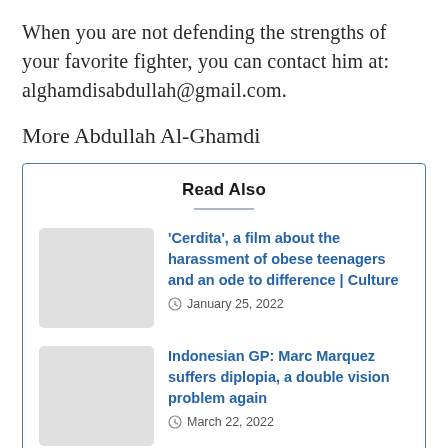When you are not defending the strengths of your favorite fighter, you can contact him at: alghamdisabdullah@gmail.com.
More Abdullah Al-Ghamdi
Read Also
'Cerdita', a film about the harassment of obese teenagers and an ode to difference | Culture — January 25, 2022
Indonesian GP: Marc Marquez suffers diplopia, a double vision problem again — March 22, 2022